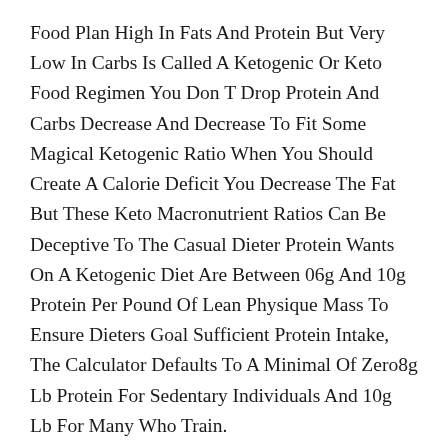Food Plan High In Fats And Protein But Very Low In Carbs Is Called A Ketogenic Or Keto Food Regimen You Don T Drop Protein And Carbs Decrease And Decrease To Fit Some Magical Ketogenic Ratio When You Should Create A Calorie Deficit You Decrease The Fat But These Keto Macronutrient Ratios Can Be Deceptive To The Casual Dieter Protein Wants On A Ketogenic Diet Are Between 06g And 10g Protein Per Pound Of Lean Physique Mass To Ensure Dieters Goal Sufficient Protein Intake, The Calculator Defaults To A Minimal Of Zero8g Lb Protein For Sedentary Individuals And 10g Lb For Many Who Train.
You Should Observe The Information That Comes With This Product Fastidiously To Get Maximum Results Out Of It Try The Keto Thin State Tablets Via The Link Below Most Of The Evaluations Point Out That It Produces Vital